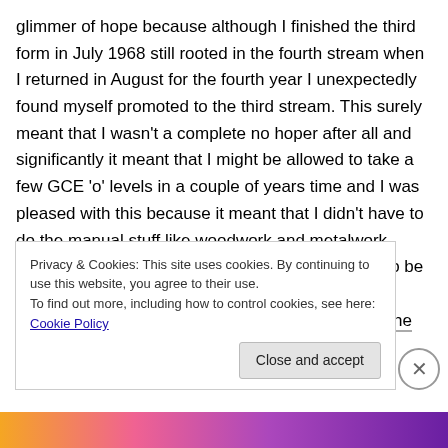glimmer of hope because although I finished the third form in July 1968 still rooted in the fourth stream when I returned in August for the fourth year I unexpectedly found myself promoted to the third stream. This surely meant that I wasn't a complete no hoper after all and significantly it meant that I might be allowed to take a few GCE 'o' levels in a couple of years time and I was pleased with this because it meant that I didn't have to do the manual stuff like woodwork and metalwork, which were lessons for the boys who were going to be working in factories quite soon and at which I was completely hopeless because the only
Privacy & Cookies: This site uses cookies. By continuing to use this website, you agree to their use.
To find out more, including how to control cookies, see here: Cookie Policy
Close and accept